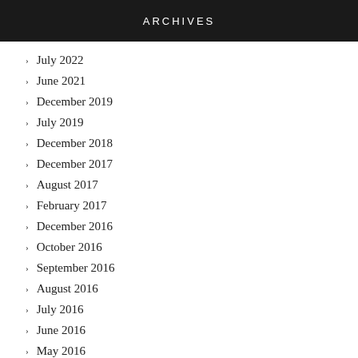ARCHIVES
July 2022
June 2021
December 2019
July 2019
December 2018
December 2017
August 2017
February 2017
December 2016
October 2016
September 2016
August 2016
July 2016
June 2016
May 2016
April 2016
March 2016
February 2016